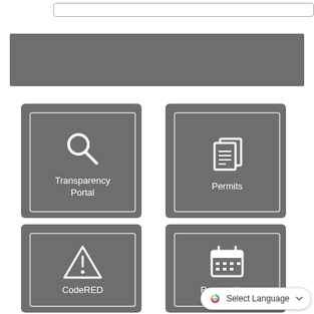[Figure (screenshot): Search bar at top of page]
[Figure (screenshot): Gray banner/header area]
[Figure (infographic): Transparency Portal icon card with magnifying glass icon]
[Figure (infographic): Permits icon card with documents icon]
[Figure (infographic): CodeRED icon card with warning/alert triangle icon]
[Figure (infographic): Reservations icon card with calendar icon]
Select Language